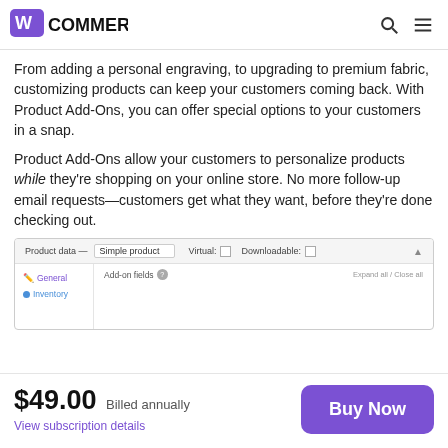WooCommerce
From adding a personal engraving, to upgrading to premium fabric, customizing products can keep your customers coming back. With Product Add-Ons, you can offer special options to your customers in a snap.
Product Add-Ons allow your customers to personalize products while they're shopping on your online store. No more follow-up email requests—customers get what they want, before they're done checking out.
[Figure (screenshot): WooCommerce product data panel showing 'Simple product' dropdown with Virtual and Downloadable checkboxes, General and Inventory sidebar items, and Add-on fields section with Expand all / Close all controls]
$49.00  Billed annually
View subscription details
Buy Now